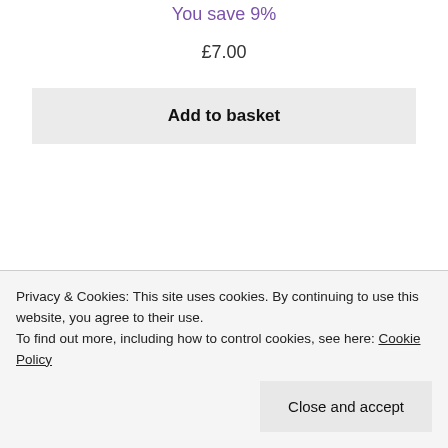You save 9%
£7.00
Add to basket
[Figure (other): Partially visible product image area at the bottom of the page]
Privacy & Cookies: This site uses cookies. By continuing to use this website, you agree to their use.
To find out more, including how to control cookies, see here: Cookie Policy
Close and accept